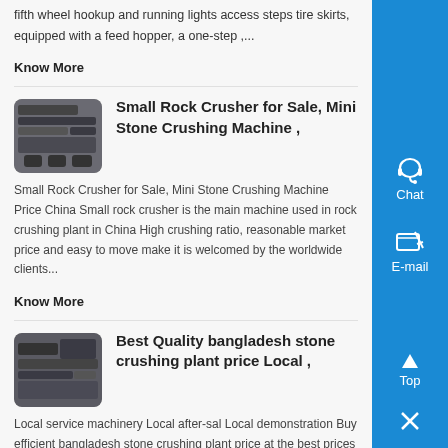fifth wheel hookup and running lights access steps tire skirts, equipped with a feed hopper, a one-step ,...
Know More
[Figure (photo): Thumbnail photo of rock crusher machinery]
Small Rock Crusher for Sale, Mini Stone Crushing Machine ,
Small Rock Crusher for Sale, Mini Stone Crushing Machine Price China Small rock crusher is the main machine used in rock crushing plant in China High crushing ratio, reasonable market price and easy to move make it is welcomed by the worldwide clients...
Know More
[Figure (photo): Thumbnail photo of bangladesh stone crushing plant machinery]
Best Quality bangladesh stone crushing plant price Local ,
Local service machinery Local after-sal Local demonstration Buy efficient bangladesh stone crushing plant price at the best prices on Alibaba. These bangladesh stone crushing plant price